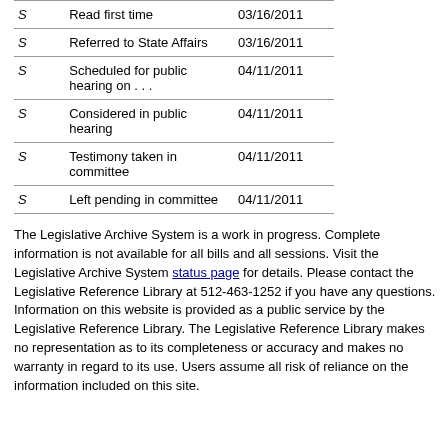|  |  |  |
| --- | --- | --- |
| S | Read first time | 03/16/2011 |
| S | Referred to State Affairs | 03/16/2011 |
| S | Scheduled for public hearing on . . . | 04/11/2011 |
| S | Considered in public hearing | 04/11/2011 |
| S | Testimony taken in committee | 04/11/2011 |
| S | Left pending in committee | 04/11/2011 |
The Legislative Archive System is a work in progress. Complete information is not available for all bills and all sessions. Visit the Legislative Archive System status page for details. Please contact the Legislative Reference Library at 512-463-1252 if you have any questions. Information on this website is provided as a public service by the Legislative Reference Library. The Legislative Reference Library makes no representation as to its completeness or accuracy and makes no warranty in regard to its use. Users assume all risk of reliance on the information included on this site.